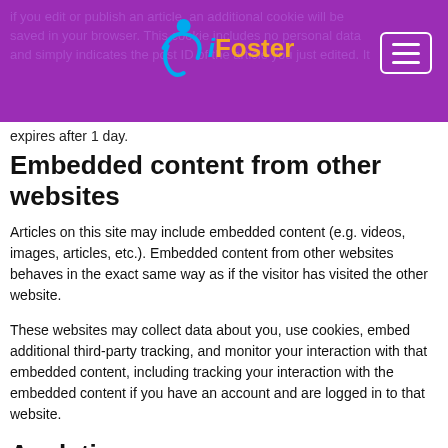iFoster - navigation header with logo and hamburger menu
expires after 1 day.
Embedded content from other websites
Articles on this site may include embedded content (e.g. videos, images, articles, etc.). Embedded content from other websites behaves in the exact same way as if the visitor has visited the other website.
These websites may collect data about you, use cookies, embed additional third-party tracking, and monitor your interaction with that embedded content, including tracking your interaction with the embedded content if you have an account and are logged in to that website.
Analytics